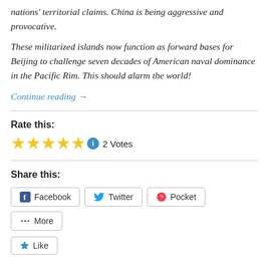nations' territorial claims. China is being aggressive and provocative.
These militarized islands now function as forward bases for Beijing to challenge seven decades of American naval dominance in the Pacific Rim. This should alarm the world!
Continue reading →
Rate this:
2 Votes
Share this:
Facebook
Twitter
Pocket
More
Like